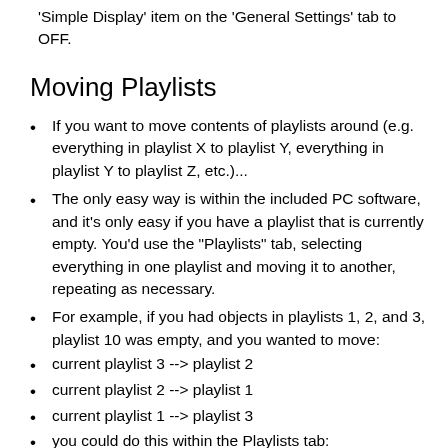'Simple Display' item on the 'General Settings' tab to OFF.
Moving Playlists
If you want to move contents of playlists around (e.g. everything in playlist X to playlist Y, everything in playlist Y to playlist Z, etc.)...
The only easy way is within the included PC software, and it's only easy if you have a playlist that is currently empty. You'd use the "Playlists" tab, selecting everything in one playlist and moving it to another, repeating as necessary.
For example, if you had objects in playlists 1, 2, and 3, playlist 10 was empty, and you wanted to move:
current playlist 3 --> playlist 2
current playlist 2 --> playlist 1
current playlist 1 --> playlist 3
you could do this within the Playlists tab: